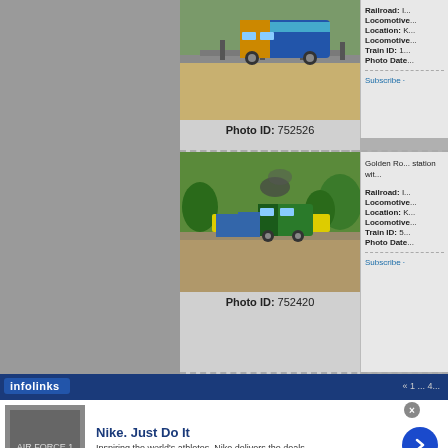[Figure (photo): Indian railway locomotive pulling a passenger train on tracks with overhead wires and green trees]
Photo ID: 752526
Railroad: I...
Locomotive...
Location: K...
Locomotive...
Train ID: 1...
Photo Date...
Subscribe ·
[Figure (photo): Indian railway diesel locomotive at a station with yellow signboards and smoke, green trees in background]
Photo ID: 752420
Golden Ro...
station wit...
Railroad: I...
Locomotive...
Location: K...
Locomotive...
Train ID: 5...
Photo Date...
Subscribe ·
infolinks
« 1 ... 4...
[Figure (photo): Nike advertisement thumbnail showing shoes]
Nike. Just Do It
Inspiring the world's athletes, Nike delivers the deals
www.nike.com